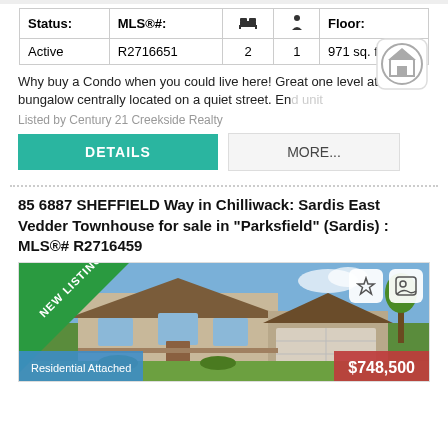| Status: | MLS®#: | 🛏 | ⬆ | Floor: |
| --- | --- | --- | --- | --- |
| Active | R2716651 | 2 | 1 | 971 sq. ft. |
Why buy a Condo when you could live here! Great one level attached bungalow centrally located on a quiet street. End unit...
Listed by Century 21 Creekside Realty
[Figure (other): Home icon button]
85 6887 SHEFFIELD Way in Chilliwack: Sardis East Vedder Townhouse for sale in "Parksfield" (Sardis) : MLS®# R2716459
[Figure (photo): Exterior photo of a residential townhouse with green lawn, brick facade, attached garage, blue sky. 'NEW LISTING' green diagonal ribbon in top-left corner. Price overlay: $748,500 (red, bottom right). Type overlay: Residential Attached (blue, bottom left). Action icons top right.]